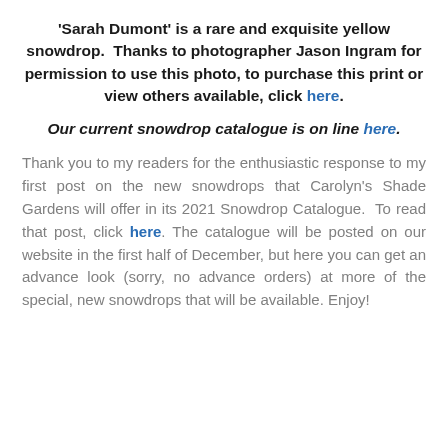'Sarah Dumont' is a rare and exquisite yellow snowdrop.  Thanks to photographer Jason Ingram for permission to use this photo, to purchase this print or view others available, click here.
Our current snowdrop catalogue is on line here.
Thank you to my readers for the enthusiastic response to my first post on the new snowdrops that Carolyn's Shade Gardens will offer in its 2021 Snowdrop Catalogue.  To read that post, click here. The catalogue will be posted on our website in the first half of December, but here you can get an advance look (sorry, no advance orders) at more of the special, new snowdrops that will be available. Enjoy!